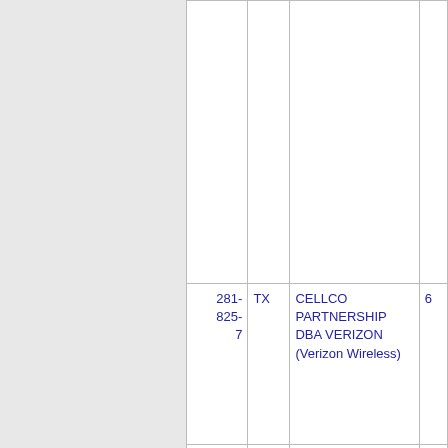| Number | State | Carrier Name |  |
| --- | --- | --- | --- |
| 281-825-7 | TX | CELLCO PARTNERSHIP DBA VERIZON (Verizon Wireless) | 6 |
| 281-825-8 | TX | CELLCO PARTNERSHIP DBA VERIZON (Verizon Wireless) | 6 |